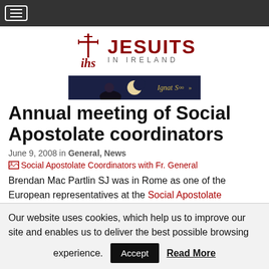[Figure (logo): Jesuits in Ireland logo with IHS cross symbol and text]
[Figure (illustration): Ignatian500 banner advertisement with dark blue background and moon imagery]
Annual meeting of Social Apostolate coordinators
June 9, 2008 in General, News
[Figure (photo): Broken image placeholder: Social Apostolate Coordinators with Fr. General]
Brendan Mac Partlin SJ was in Rome as one of the European representatives at the Social Apostolate coordinators annual meeting from 26 to 31 May. They met to look at Jesuit social apostolates in the
Our website uses cookies, which help us to improve our site and enables us to deliver the best possible browsing experience. Accept  Read More